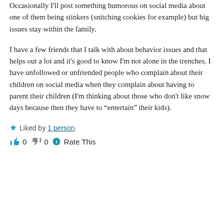Occasionally I'll post something humorous on social media about one of them being stinkers (snitching cookies for example) but big issues stay within the family.
I have a few friends that I talk with about behavior issues and that helps out a lot and it's good to know I'm not alone in the trenches. I have unfollowed or unfriended people who complain about their children on social media when they complain about having to parent their children (I'm thinking about those who don't like snow days because then they have to “entertain” their kids).
Liked by 1 person
0  0  Rate This